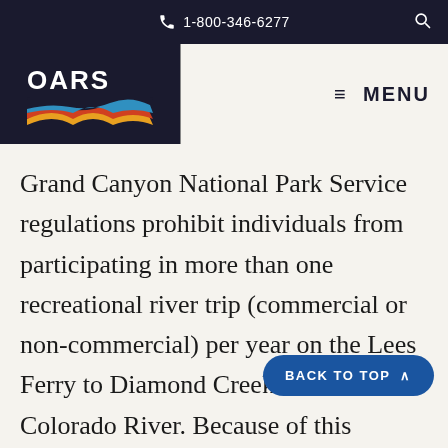1-800-346-6277
[Figure (logo): OARS logo with colorful river/waves graphic on dark navy background]
Grand Canyon National Park Service regulations prohibit individuals from participating in more than one recreational river trip (commercial or non-commercial) per year on the Lees Ferry to Diamond Creek section of the Colorado River. Because of this regulation, O.A.R.S. Grand Canyon, Inc. cannot accept a reservation from any individual who has or will participate in any other full or partial canyon commercial river trip within the same calendar